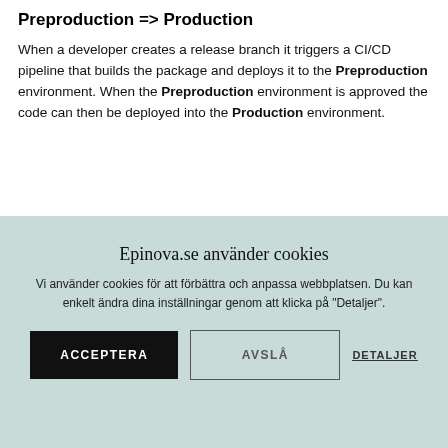Preproduction => Production
When a developer creates a release branch it triggers a CI/CD pipeline that builds the package and deploys it to the Preproduction environment. When the Preproduction environment is approved the code can then be deployed into the Production environment.
Epinova.se använder cookies
Vi använder cookies för att förbättra och anpassa webbplatsen. Du kan enkelt ändra dina inställningar genom att klicka på "Detaljer".
ACCEPTERA   AVSLÅ   DETALJER